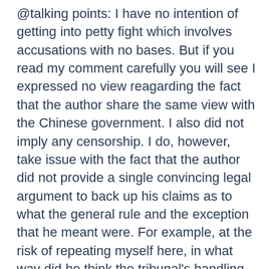@talking points: I have no intention of getting into petty fight which involves accusations with no bases. But if you read my comment carefully you will see I expressed no view reagarding the fact that the author share the same view with the Chinese government. I also did not imply any censorship. I do, however, take issue with the fact that the author did not provide a single convincing legal argument to back up his claims as to what the general rule and the exception that he meant were. For example, at the risk of repeating myself here, in what way did he think the tribunal's handling of the questions of sovereignty or the exceptions in Article 298 in the Award was ultra vires? A mere accusation from the (no participation)